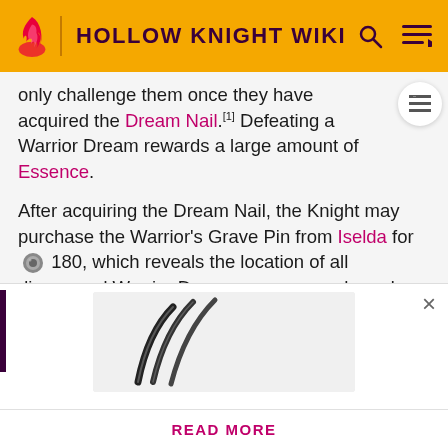HOLLOW KNIGHT WIKI
only challenge them once they have acquired the Dream Nail.[1] Defeating a Warrior Dream rewards a large amount of Essence.
After acquiring the Dream Nail, the Knight may purchase the Warrior's Grave Pin from Iselda for  180, which reveals the location of all discovered Warrior Dreams on any purchased Maps.
Dream Nailing a Warrior Dream automatically starts the fight, and Dream Nailing them after winning the fight
[Figure (illustration): Claw slash illustration on light background card overlay]
READ MORE